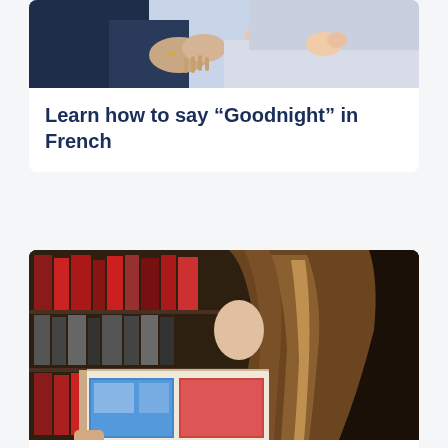[Figure (photo): Adult holding hands with a child lying in bed, bedtime scene with soft blue tones]
Learn how to say “Goodnight” in French
[Figure (photo): Young girl with long brown hair reading a colorful book in a library or bookstore with books in background]
French Comprehension...